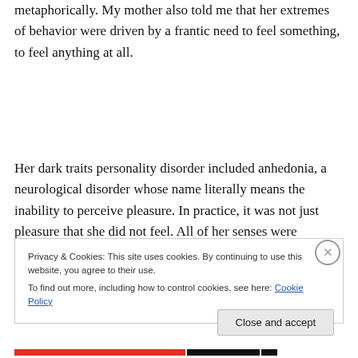metaphorically. My mother also told me that her extremes of behavior were driven by a frantic need to feel something, to feel anything at all.
Her dark traits personality disorder included anhedonia, a neurological disorder whose name literally means the inability to perceive pleasure. In practice, it was not just pleasure that she did not feel. All of her senses were
Privacy & Cookies: This site uses cookies. By continuing to use this website, you agree to their use.
To find out more, including how to control cookies, see here: Cookie Policy